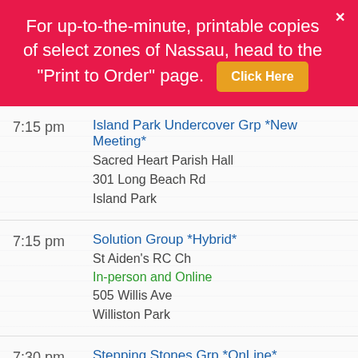For up-to-the-minute, printable copies of select zones of Nassau, head to the "Print to Order" page. Click Here
7:15 pm | Island Park Undercover Grp *New Meeting* | Sacred Heart Parish Hall | 301 Long Beach Rd | Island Park
7:15 pm | Solution Group *Hybrid* | St Aiden's RC Ch | In-person and Online | 505 Willis Ave | Williston Park
7:30 pm | Stepping Stones Grp *OnLine* | Stepping Stones Group | Online | Oceanside